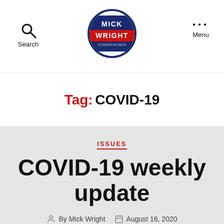Search | Mick Wright Commissioner | Menu
Tag: COVID-19
ISSUES
COVID-19 weekly update
By Mick Wright  August 16, 2020